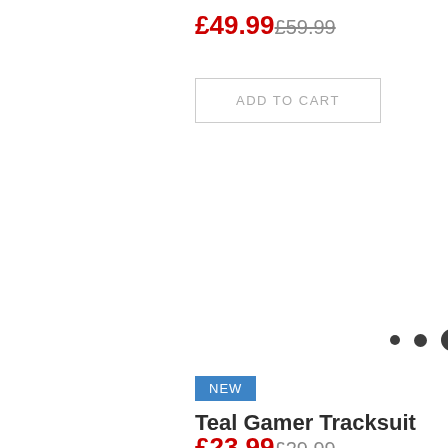£49.99 £59.99
ADD TO CART
[Figure (other): Three small dark circles of increasing size representing a loading indicator or carousel dots]
NEW
Teal Gamer Tracksuit
£23.99 £29.99